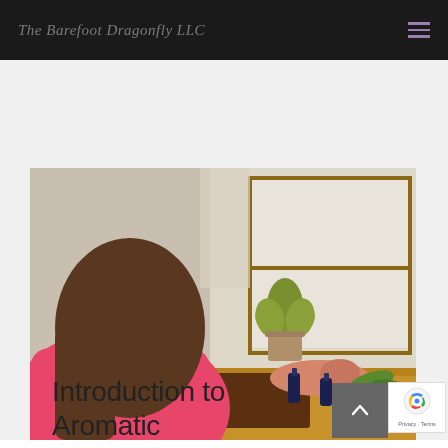The Barefoot Dragonfly LLC
[Figure (photo): Woman in pink shirt sitting at a wooden desk near a window, working with essential oil bottles and a small tray. A green succulent plant sits on the desk. Natural light comes through the window.]
Introduction to Aromatic Therapies